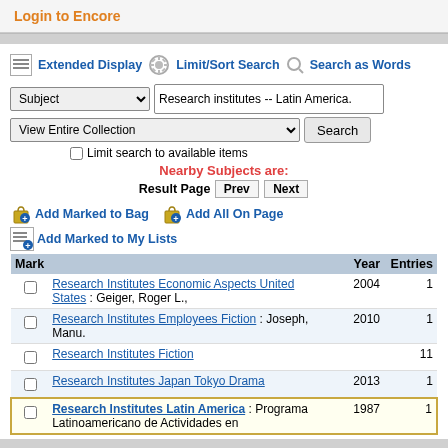Login to Encore
Extended Display   Limit/Sort Search   Search as Words
Subject | Research institutes -- Latin America.
View Entire Collection | Search
Limit search to available items
Nearby Subjects are:
Result Page  Prev  Next
Add Marked to Bag   Add All On Page
Add Marked to My Lists
| Mark |  | Year | Entries |
| --- | --- | --- | --- |
| ☐ | Research Institutes Economic Aspects United States : Geiger, Roger L., | 2004 | 1 |
| ☐ | Research Institutes Employees Fiction : Joseph, Manu. | 2010 | 1 |
| ☐ | Research Institutes Fiction |  | 11 |
| ☐ | Research Institutes Japan Tokyo Drama | 2013 | 1 |
| ☐ | Research Institutes Latin America : Programa Latinoamericano de Actividades en | 1987 | 1 |